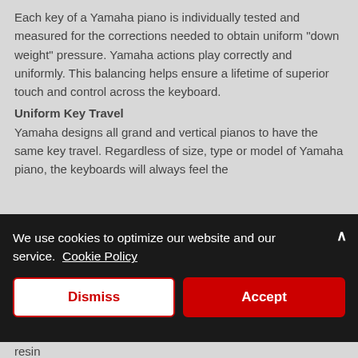Each key of a Yamaha piano is individually tested and measured for the corrections needed to obtain uniform “down weight” pressure. Yamaha actions play correctly and uniformly. This balancing helps ensure a lifetime of superior touch and control across the keyboard.
Uniform Key Travel
Yamaha designs all grand and vertical pianos to have the same key travel. Regardless of size, type or model of Yamaha piano, the keyboards will always feel the
We use cookies to optimize our website and our service.  Cookie Policy
Dismiss
Accept
resin